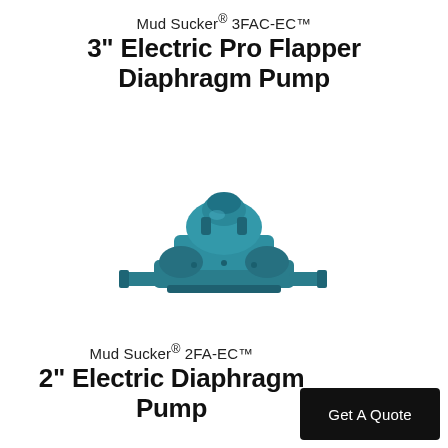Mud Sucker® 3FAC-EC™
3" Electric Pro Flapper Diaphragm Pump
[Figure (photo): Teal/blue colored 3-inch electric pro flapper diaphragm pump (Mud Sucker 3FAC-EC) shown from a 3/4 angle, industrial pump with motor on top and pipe connections on sides.]
Mud Sucker® 2FA-EC™
2" Electric Diaphragm Pump
Get A Quote